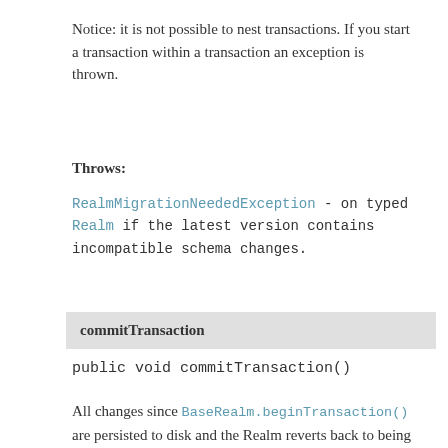Notice: it is not possible to nest transactions. If you start a transaction within a transaction an exception is thrown.
Throws:
RealmMigrationNeededException - on typed Realm if the latest version contains incompatible schema changes.
commitTransaction
public void commitTransaction()
All changes since BaseRealm.beginTransaction() are persisted to disk and the Realm reverts back to being read-only. An event is sent to notify all other Realm instances that a change has occurred. When the event is received, the other Realms will update their objects and RealmResults to reflect the changes from this commit.